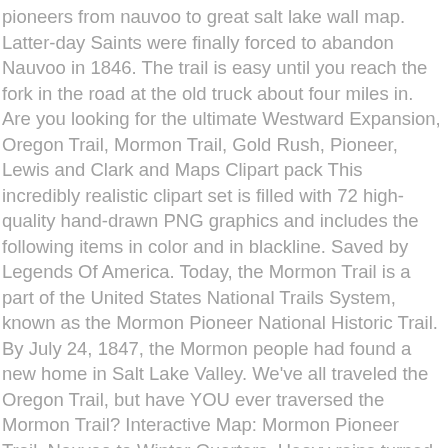pioneers from nauvoo to great salt lake wall map. Latter-day Saints were finally forced to abandon Nauvoo in 1846. The trail is easy until you reach the fork in the road at the old truck about four miles in. Are you looking for the ultimate Westward Expansion, Oregon Trail, Mormon Trail, Gold Rush, Pioneer, Lewis and Clark and Maps Clipart pack This incredibly realistic clipart set is filled with 72 high-quality hand-drawn PNG graphics and includes the following items in color and in blackline. Saved by Legends Of America. Today, the Mormon Trail is a part of the United States National Trails System, known as the Mormon Pioneer National Historic Trail. By July 24, 1847, the Mormon people had found a new home in Salt Lake Valley. We've all traveled the Oregon Trail, but have YOU ever traversed the Mormon Trail? Interactive Map: Mormon Pioneer Trail, Nauvoo to Winter Quarters. Heavy rains turned the rolling plains of southern Iowa into a quagmire of axle-deep mud. Therefore, the LDS Church established a revolving fund, known as the Perpetual Emigration Fund, to enable the poor to emigrate. Young and several other members of the party suffered from a fever, generally accepted as a "mountain fever" induced by wood ticks. The train contained 73 wagons, draft animals, and livestock, and carried enough supplies to provision the group for one year. The Hidden Valley trail is a short trail